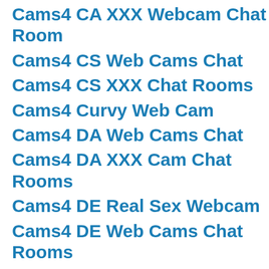Cams4 CA XXX Webcam Chat Room
Cams4 CS Web Cams Chat
Cams4 CS XXX Chat Rooms
Cams4 Curvy Web Cam
Cams4 DA Web Cams Chat
Cams4 DA XXX Cam Chat Rooms
Cams4 DE Real Sex Webcam
Cams4 DE Web Cams Chat Rooms
Cams4 Ebony Web Cam
Cams4 Ebony XXX